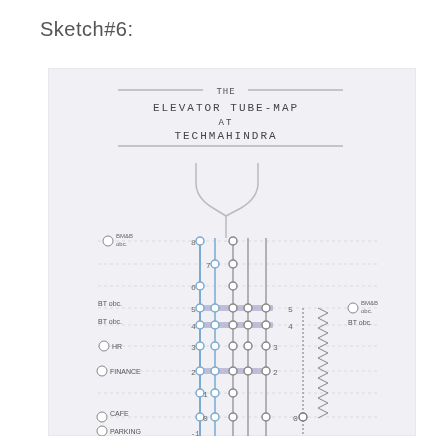Sketch#6:
[Figure (schematic): Hand-drawn sketch titled 'THE ELEVATOR TUBE-MAP AT TECHMAHINDRA'. Shows a tube/metro style map of elevators in a building, with vertical lines representing elevator shafts, circles representing floors/stops (numbered 0-8), horizontal bars indicating connections between shafts, and labels on the left and right sides indicating departments: BT obc, HR, Finance, Cafe, Parking. Two branch lines diverge at the top. Dashed lines on the right with zigzag pattern. Left side icons/labels include BT obc (x2), HR, Finance, Cafe, Parking. Right side labels include BT obc (x2).]